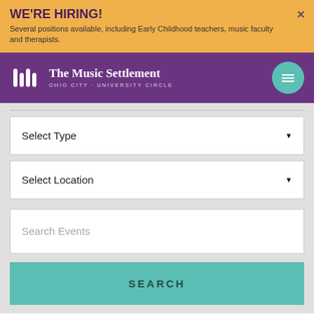WE'RE HIRING! Several positions available, including Early Childhood teachers, music faculty and therapists.
[Figure (logo): The Music Settlement logo with stylized M icon and text 'OHIO CITY - UNIVERSITY CIRCLE']
Select Type
Select Location
Search Events
SEARCH